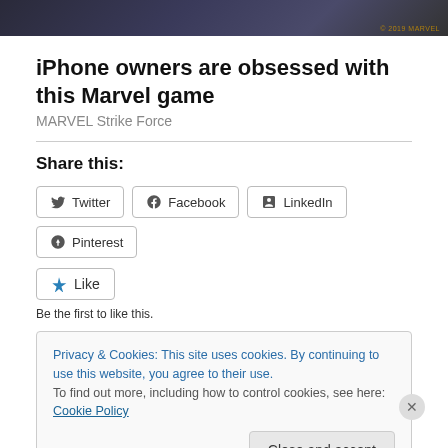[Figure (photo): Dark hero image with Marvel game artwork, watermark text in bottom right]
iPhone owners are obsessed with this Marvel game
MARVEL Strike Force
Share this:
Twitter  Facebook  LinkedIn  Pinterest
Like
Be the first to like this.
Privacy & Cookies: This site uses cookies. By continuing to use this website, you agree to their use.
To find out more, including how to control cookies, see here: Cookie Policy
Close and accept